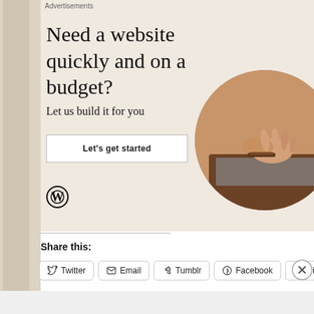[Figure (screenshot): WordPress advertisement banner: 'Need a website quickly and on a budget? Let us build it for you' with a 'Let's get started' button, WordPress logo, and a photo of hands typing on a laptop. Background is light beige.]
Advertisements
Share this:
Twitter
Email
Tumblr
Facebook
Pinterest
Advertisements
[Figure (screenshot): DuckDuckGo advertisement banner: orange left section reads 'Search, browse, and email with more privacy. All in One Free App', dark right section shows DuckDuckGo duck logo and 'DuckDuckGo' text.]